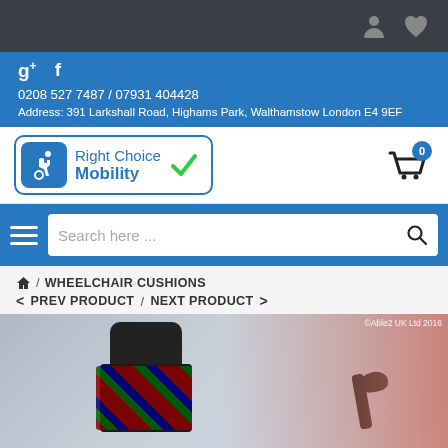User icon, Wishlist icon
g+  f
0208 527 7487 / 07931 404428
Address: 391 Larkshall Road, Highams Park, Walthamstow London E4 9EF
[Figure (logo): Right Choice Mobility logo with wheelchair accessibility icon and green checkmark]
[Figure (other): Shopping cart icon with badge showing 0]
[Figure (other): Search bar with hamburger menu]
Search here ...
🏠 / WHEELCHAIR CUSHIONS
< PREV PRODUCT /  NEXT PRODUCT >
[Figure (photo): Photo of a wheelchair with a tartan cushion, outdoors background. Copyright Able2 UK Ltd 2016.]